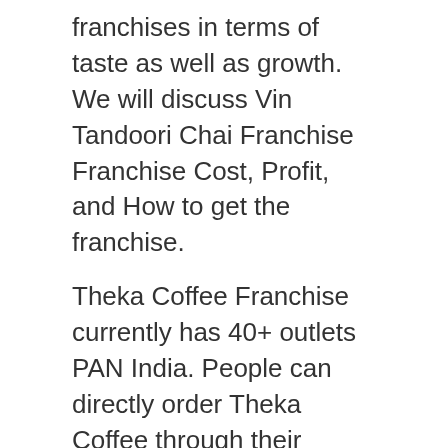franchises in terms of taste as well as growth. We will discuss Vin Tandoori Chai Franchise Franchise Cost, Profit, and How to get the franchise.
Theka Coffee Franchise currently has 40+ outlets PAN India. People can directly order Theka Coffee through their mobile Application. You can directly enroll for the Theka Coffee Franchise by filling up the Google Form.
| 1. Theka Coffee Franchise Cost |
| 2. Theka Coffee Franchise Profit |
| 3. Theka Coffee Franchise Menu |
| 4. How to Get Theka Coffee Franchise? |